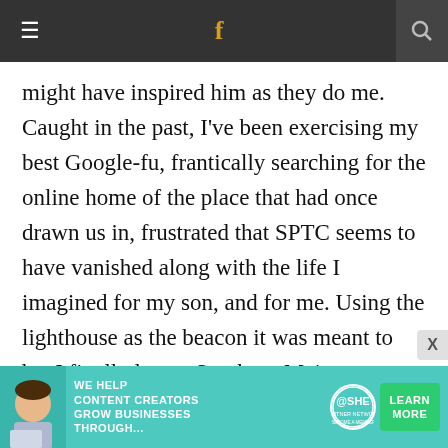≡  f  🔍
might have inspired him as they do me. Caught in the past, I've been exercising my best Google-fu, frantically searching for the online home of the place that had once drawn us in, frustrated that SPTC seems to have vanished along with the life I imagined for my son, and for me. Using the lighthouse as the beacon it was meant to be, I finally locate Southern Maine Community College on the web, the same campus anointed with a new name, another entity entirely. How like my own life, it strikes me, completely rewritten,
[Figure (infographic): Advertisement banner for SHE Media Partner Network: 'We help content creators grow businesses through...' with a Learn More button]